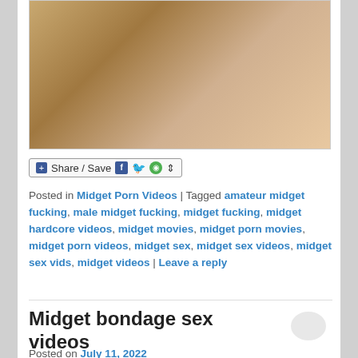[Figure (photo): A photograph partially visible at the top of the page]
Share / Save
Posted in Midget Porn Videos | Tagged amateur midget fucking, male midget fucking, midget fucking, midget hardcore videos, midget movies, midget porn movies, midget porn videos, midget sex, midget sex videos, midget sex vids, midget videos | Leave a reply
Midget bondage sex videos
Posted on July 11, 2022